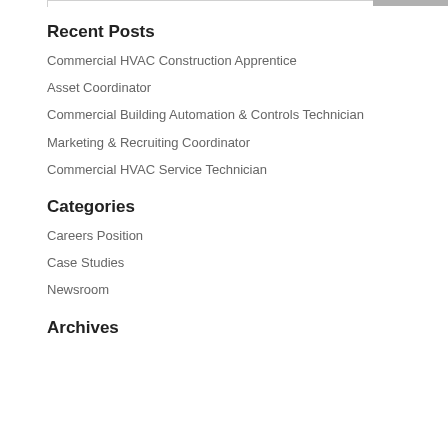Recent Posts
Commercial HVAC Construction Apprentice
Asset Coordinator
Commercial Building Automation & Controls Technician
Marketing & Recruiting Coordinator
Commercial HVAC Service Technician
Categories
Careers Position
Case Studies
Newsroom
Archives